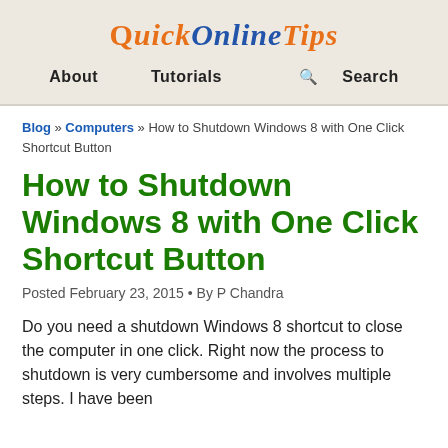QuickOnlineTips
About   Tutorials   Search
Blog » Computers » How to Shutdown Windows 8 with One Click Shortcut Button
How to Shutdown Windows 8 with One Click Shortcut Button
Posted February 23, 2015 • By P Chandra
Do you need a shutdown Windows 8 shortcut to close the computer in one click. Right now the process to shutdown is very cumbersome and involves multiple steps. I have been